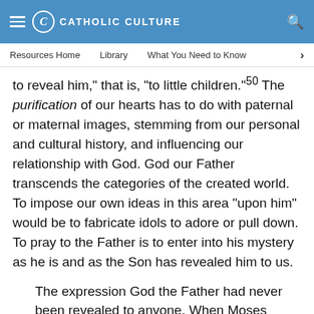CATHOLIC CULTURE
Resources Home   Library   What You Need to Know
to reveal him," that is, "to little children."⁵⁰ The purification of our hearts has to do with paternal or maternal images, stemming from our personal and cultural history, and influencing our relationship with God. God our Father transcends the categories of the created world. To impose our own ideas in this area "upon him" would be to fabricate idols to adore or pull down. To pray to the Father is to enter into his mystery as he is and as the Son has revealed him to us.
The expression God the Father had never been revealed to anyone. When Moses himself asked God who he was, he heard